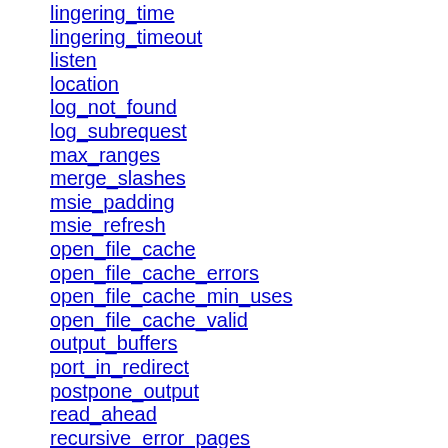lingering_time
lingering_timeout
listen
location
log_not_found
log_subrequest
max_ranges
merge_slashes
msie_padding
msie_refresh
open_file_cache
open_file_cache_errors
open_file_cache_min_uses
open_file_cache_valid
output_buffers
port_in_redirect
postpone_output
read_ahead
recursive_error_pages
request_pool_size